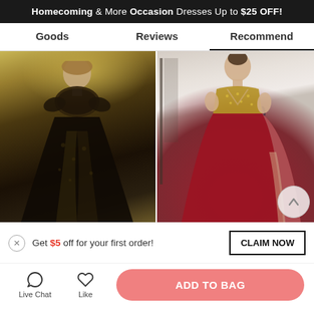Homecoming & More Occasion Dresses Up to $25 OFF!
Goods | Reviews | Recommend
[Figure (photo): Two fashion product photos side by side: left shows a woman in a black lace overlay gown with gold undertones in an autumn outdoor setting; right shows a woman in a red ballgown with gold beaded bodice in an indoor setting.]
Get $5 off for your first order!
CLAIM NOW
Live Chat
Like
ADD TO BAG